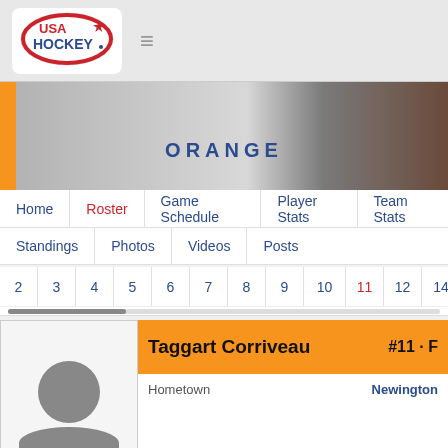[Figure (logo): USA Hockey logo — red, white, blue oval with star]
ORANGE
Home
Roster
Game Schedule
Player Stats
Team Stats
Standings
Photos
Videos
Posts
2 3 4 5 6 7 8 9 10 11 12 14
Taggart Corriveau #11 · F
Hometown Newington